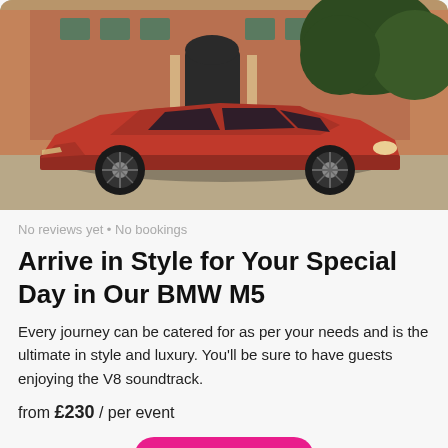[Figure (photo): A red BMW M5 parked in front of a historic brick building with arched entrance and dense green trees, photographed from the side profile.]
No reviews yet • No bookings
Arrive in Style for Your Special Day in Our BMW M5
Every journey can be catered for as per your needs and is the ultimate in style and luxury. You'll be sure to have guests enjoying the V8 soundtrack.
from £230 / per event